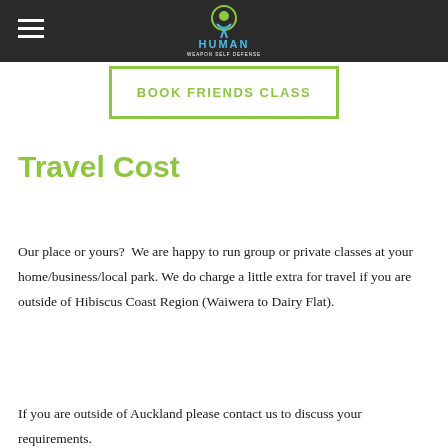Human Weapon Self Defense
BOOK FRIENDS CLASS
Travel Cost
Our place or yours?  We are happy to run group or private classes at your home/business/local park. We do charge a little extra for travel if you are outside of Hibiscus Coast Region (Waiwera to Dairy Flat).
If you are outside of Auckland please contact us to discuss your requirements.